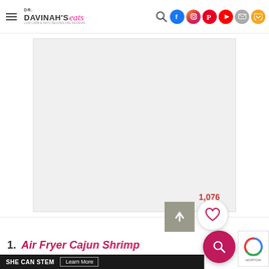DR. DAVINAH'S eats — navigation bar with logo and social icons
[Figure (photo): Large white/light gray image placeholder area (food photo area, content not visible)]
1,076
[Figure (illustration): Scroll-up arrow button (gray square with upward arrow)]
[Figure (illustration): Heart/save button (white circle with heart icon, border)]
[Figure (illustration): Floating search button (dark pink circle with magnifier icon)]
[Figure (illustration): reCAPTCHA logo / widget area]
1.  Air Fryer Cajun Shrimp
SHE CAN STEM   Learn More